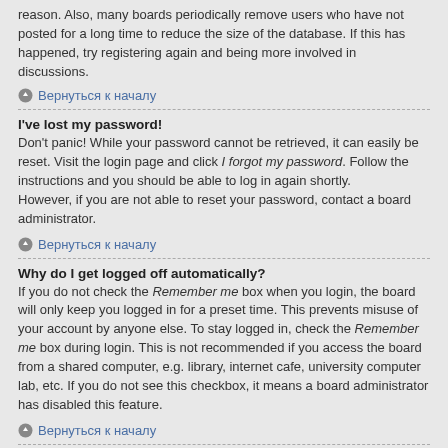reason. Also, many boards periodically remove users who have not posted for a long time to reduce the size of the database. If this has happened, try registering again and being more involved in discussions.
Вернуться к началу
I've lost my password!
Don't panic! While your password cannot be retrieved, it can easily be reset. Visit the login page and click I forgot my password. Follow the instructions and you should be able to log in again shortly.
However, if you are not able to reset your password, contact a board administrator.
Вернуться к началу
Why do I get logged off automatically?
If you do not check the Remember me box when you login, the board will only keep you logged in for a preset time. This prevents misuse of your account by anyone else. To stay logged in, check the Remember me box during login. This is not recommended if you access the board from a shared computer, e.g. library, internet cafe, university computer lab, etc. If you do not see this checkbox, it means a board administrator has disabled this feature.
Вернуться к началу
What does the “Delete all board cookies” do?